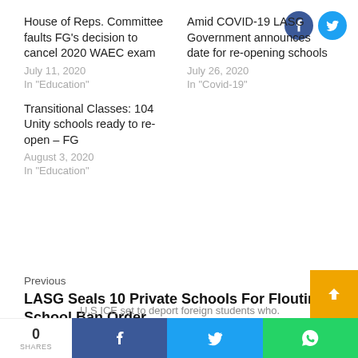House of Reps. Committee faults FG's decision to cancel 2020 WAEC exam
July 11, 2020
In "Education"
Amid COVID-19 LASG Government announces date for re-opening schools
July 26, 2020
In "Covid-19"
Transitional Classes: 104 Unity schools ready to re-open – FG
August 3, 2020
In "Education"
Previous
LASG Seals 10 Private Schools For Flouting School Ban Order
U.S ICE set to deport foreign students who...